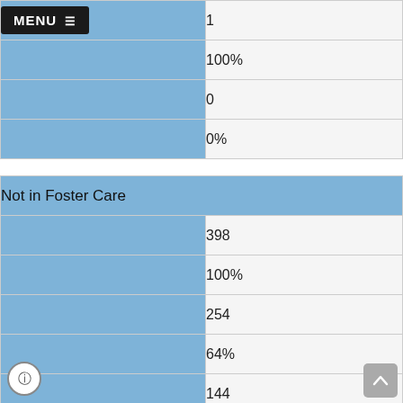|  |  |
| --- | --- |
| MENU ☰ | 1 |
|  | 100% |
|  | 0 |
|  | 0% |
| Not in Foster Care |  |
|  | 398 |
|  | 100% |
|  | 254 |
|  | 64% |
|  | 144 |
|  | 36% |